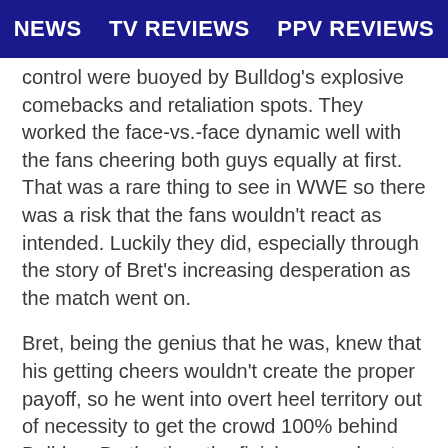NEWS   TV REVIEWS   PPV REVIEWS
control were buoyed by Bulldog's explosive comebacks and retaliation spots. They worked the face-vs.-face dynamic well with the fans cheering both guys equally at first. That was a rare thing to see in WWE so there was a risk that the fans wouldn't react as intended. Luckily they did, especially through the story of Bret's increasing desperation as the match went on.
Bret, being the genius that he was, knew that his getting cheers wouldn't create the proper payoff, so he went into overt heel territory out of necessity to get the crowd 100% behind Bulldog. By the time the finish came about, the audience was desperate to see Bulldog win. And when he did, the reaction was absolutely nuclear. If nothing else, the crowd reaction to the finish made this match. They had